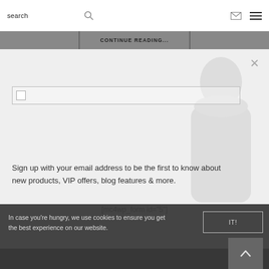search
CONTINUE READING...
[Figure (screenshot): Email signup modal overlay with a faint woman image in the background, a text input field with checkbox, and a close X button]
Sign up with your email address to be the first to know about new products, VIP offers, blog features & more.
[mc4wp_form id="5"]
In case you're hungry, we use cookies to ensure you get the best experience on our website.
IT!